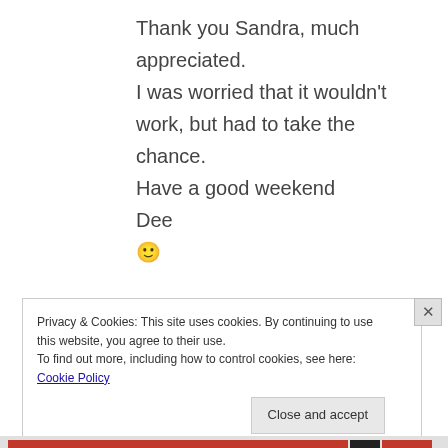Thank you Sandra, much appreciated.
I was worried that it wouldn't work, but had to take the chance.
Have a good weekend
Dee
🙂
Privacy & Cookies: This site uses cookies. By continuing to use this website, you agree to their use.
To find out more, including how to control cookies, see here: Cookie Policy
Close and accept